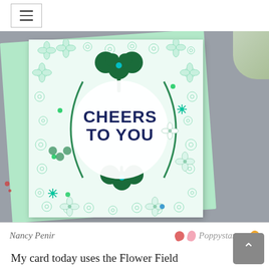≡ (hamburger menu icon)
[Figure (photo): A handmade greeting card featuring white flower field frame die cut with green shamrock/clover embellishments and 'CHEERS TO YOU' sentiment, placed on a mint green envelope, photographed on a gray background. Attributed to Nancy Penir for Poppystamps.]
Nancy Penir    Poppystamps
My card today uses the Flower Field Frame die cut from white cardstock, and lightly